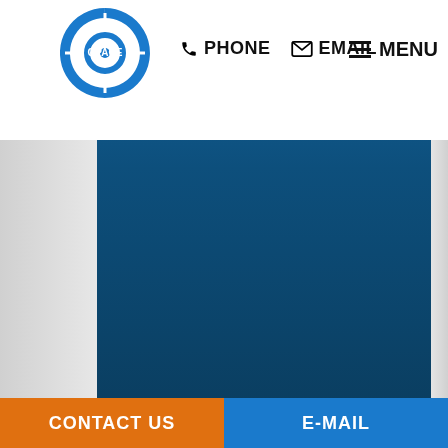[Figure (screenshot): Website screenshot showing navigation header with logo, PHONE and EMAIL links, MENU button, a large blue content area, and a footer with CONTACT US and E-MAIL buttons]
PHONE  EMAIL  MENU
CONTACT US
E-MAIL